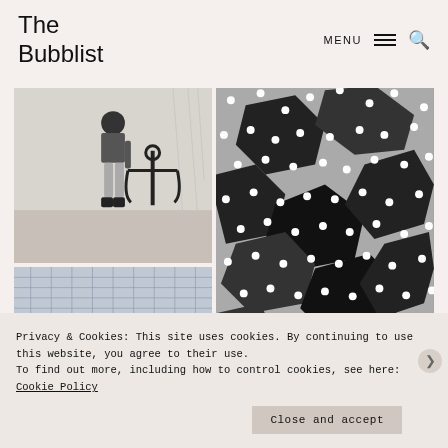The Bubblist
[Figure (screenshot): Website screenshot showing 'The Bubblist' header with MENU navigation and search icon, and a grid of black-and-white art photographs below including a person holding an anchor, a black and white dots/hexagon pattern print, and a textured grid artwork.]
Privacy & Cookies: This site uses cookies. By continuing to use this website, you agree to their use.
To find out more, including how to control cookies, see here: Cookie Policy
Close and accept